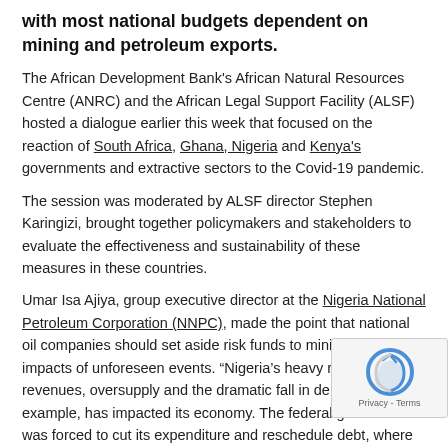with most national budgets dependent on mining and petroleum exports.
The African Development Bank's African Natural Resources Centre (ANRC) and the African Legal Support Facility (ALSF) hosted a dialogue earlier this week that focused on the reaction of South Africa, Ghana, Nigeria and Kenya's governments and extractive sectors to the Covid-19 pandemic.
The session was moderated by ALSF director Stephen Karingizi, brought together policymakers and stakeholders to evaluate the effectiveness and sustainability of these measures in these countries.
Umar Isa Ajiya, group executive director at the Nigeria National Petroleum Corporation (NNPC), made the point that national oil companies should set aside risk funds to minimise the impacts of unforeseen events. “Nigeria’s heavy reliance on oil revenues, oversupply and the dramatic fall in demand, for example, has impacted its economy. The federal government was forced to cut its expenditure and reschedule debt, where necessary,” said Ajiya.
In his remarks, Ben Aryee, advisor to Ghana's Lands and Natural Resources Minister, predicted a brighter outlook for the